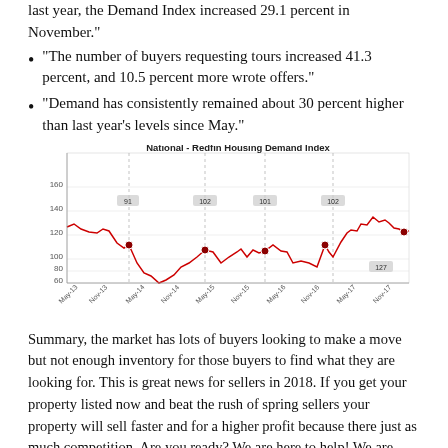"The number of buyers requesting tours increased 41.3 percent, and 10.5 percent more wrote offers."
"Demand has consistently remained about 30 percent higher than last year's levels since May."
[Figure (line-chart): Line chart showing the National Redfin Housing Demand Index from May-13 to Nov-17, with values fluctuating between roughly 80 and 138. Notable labeled points include values around 91, 102, 101, 102, and 127, with a low near 91 in late 2013 and a peak near 138 in mid-2017.]
Summary, the market has lots of buyers looking to make a move but not enough inventory for those buyers to find what they are looking for. This is great news for sellers in 2018. If you get your property listed now and beat the rush of spring sellers your property will sell faster and for a higher profit because there just as much competition. Are you ready? We are here to help! We are scheduling FREE listing consultations now! Let's chat. 785-